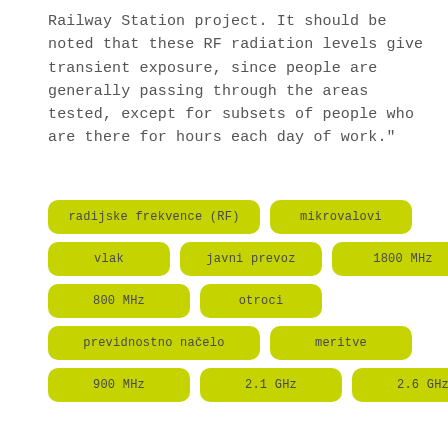Railway Station project. It should be noted that these RF radiation levels give transient exposure, since people are generally passing through the areas tested, except for subsets of people who are there for hours each day of work."
[Figure (infographic): Tag cloud of keywords in yellow-green rounded rectangle buttons: radijske frekvence (RF), mikrovalovi, vlak, javni prevoz, 1800 MHz, 800 MHz, otroci, previdnostno načelo, meritve, 900 MHz, 2.1 GHz, 2.6 GHz]